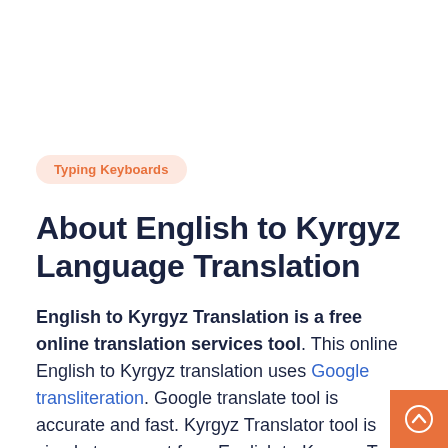Typing Keyboards
About English to Kyrgyz Language Translation
English to Kyrgyz Translation is a free online translation services tool. This online English to Kyrgyz translation uses Google transliteration. Google translate tool is accurate and fast. Kyrgyz Translator tool is simple to convert from English to Kyrgyz. Type